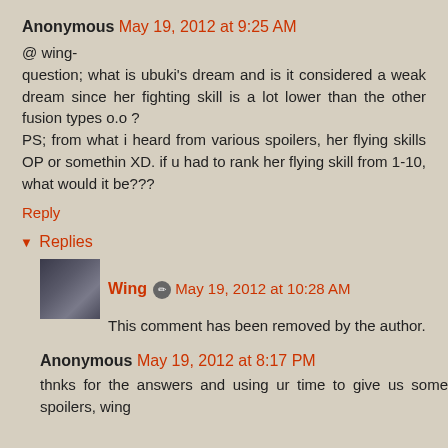Anonymous May 19, 2012 at 9:25 AM
@ wing-
question; what is ubuki's dream and is it considered a weak dream since her fighting skill is a lot lower than the other fusion types o.o ?
PS; from what i heard from various spoilers, her flying skills OP or somethin XD. if u had to rank her flying skill from 1-10, what would it be???
Reply
▼ Replies
Wing May 19, 2012 at 10:28 AM
This comment has been removed by the author.
Anonymous May 19, 2012 at 8:17 PM
thnks for the answers and using ur time to give us some spoilers, wing